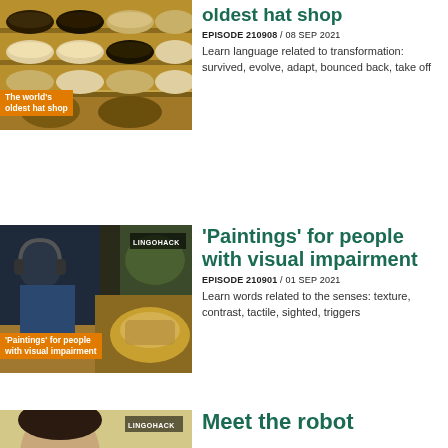[Figure (photo): Thumbnail of hat shop with stacked hats on shelves, warm yellow-orange tones. Orange label reads 'The world's oldest hat shop']
oldest hat shop
EPISODE 210908 / 08 SEP 2021
Learn language related to transformation: survived, evolve, adapt, bounced back, take off
[Figure (photo): Thumbnail showing person with headphones leaning over a plate of food. LINGOHACK badge top right. Orange label reads ''Paintings' for people with visual impairment']
'Paintings' for people with visual impairment
EPISODE 210901 / 01 SEP 2021
Learn words related to the senses: texture, contrast, tactile, sighted, triggers
[Figure (photo): Partial thumbnail showing a face, LINGOHACK badge top right]
Meet the robot